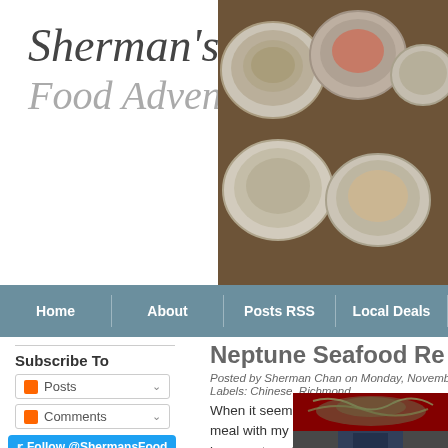Sherman's Food Adventures
[Figure (photo): Photo of Korean/Asian food bowls, top-down view showing multiple bowls with various dishes]
Home | About | Posts RSS | Local Deals
Subscribe To
Posts (RSS dropdown)
Comments (RSS dropdown)
Follow @ShermansFood
Save
Neptune Seafood Re...
Posted by Sherman Chan on Monday, November 30, 20...
Labels: Chinese, Richmond
When it seemed like a meal with my mother-in-law was transitioning from Chinese water torture to something bearable, it came
[Figure (photo): Photo of Neptune Seafood Restaurant exterior showing red sign with dragon motif and entrance]